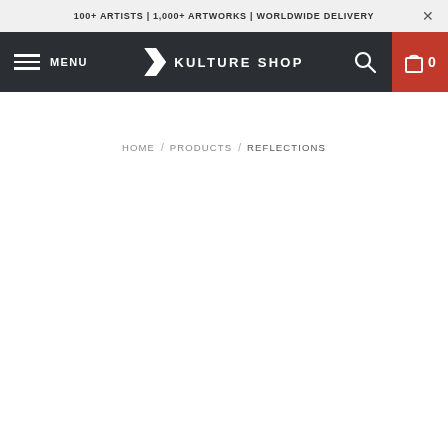100+ ARTISTS | 1,000+ ARTWORKS | WORLDWIDE DELIVERY
[Figure (screenshot): Kulture Shop navigation bar with hamburger menu, logo, search icon, and cart icon (0 items)]
HOME / PRODUCTS / REFLECTIONS